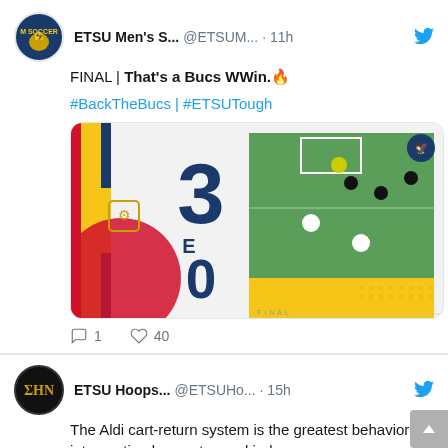[Figure (screenshot): Twitter/social media screenshot showing two tweets. First tweet from ETSU Men's Soccer @ETSUM... 11h: 'FINAL | That's a Bucs WWin.🔥' with hashtags #BackTheBucs | #ETSUTough and a soccer score graphic showing 3-0 FINAL, with 1 reply and 40 likes. Second tweet from ETSU Hoops... @ETSUHo... 15h: 'The Aldi cart-return system is the greatest behavioral intervention known to mankind.' with a shopping cart image below.]